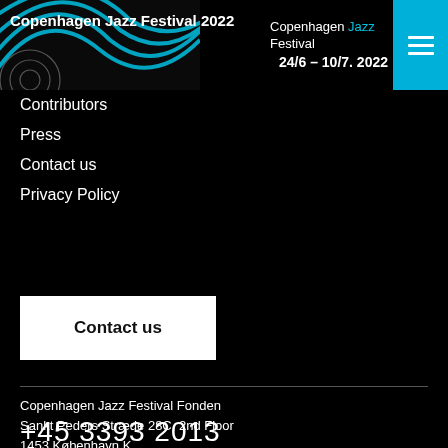Copenhagen Jazz Festival 2022 | Copenhagen Jazz Festival 24/6 – 10/7. 2022
Contributors
Press
Contact us
Privacy Policy
Contact us
Copenhagen Jazz Festival Fonden
Sankt Peders Stræde 28C, 2nd Floor
1453 København K
information@jazz.dk
+45 3393 2013